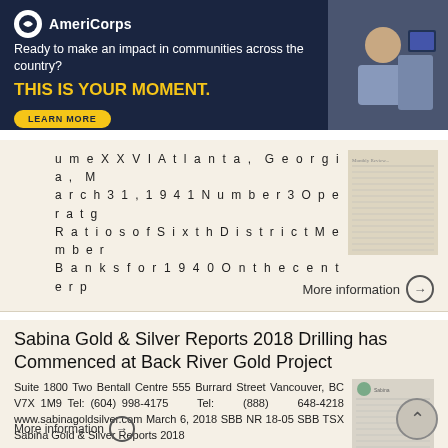[Figure (other): AmeriCorps advertisement banner: dark navy background, AmeriCorps logo, tagline 'Ready to make an impact in communities across the country?', bold yellow text 'THIS IS YOUR MOMENT.', 'LEARN MORE' button, and a photo of people on the right.]
ume XXVI Atlanta, Georgia, March 31, 1941 Number 3 Operatg Ratios of Sixth District Member Banks for 1940 On the center p
More information →
Sabina Gold & Silver Reports 2018 Drilling has Commenced at Back River Gold Project
Suite 1800 Two Bentall Centre 555 Burrard Street Vancouver, BC V7X 1M9 Tel: (604) 998-4175 Tel: (888) 648-4218 www.sabinagoldsilver.com March 6, 2018 SBB NR 18-05 SBB TSX Sabina Gold & Silver Reports 2018
More information →